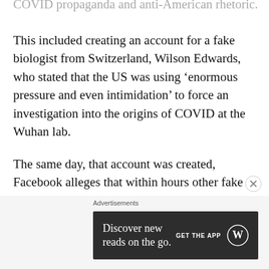COVID propaganda and anti-American rhetoric.
This included creating an account for a fake biologist from Switzerland, Wilson Edwards, who stated that the US was using ‘enormous pressure and even intimidation’ to force an investigation into the origins of COVID at the Wuhan lab.
The same day, that account was created, Facebook alleges that within hours other fake accounts, some created the same day as the Swiss Biologist’s account, were spreading the propaganda posted on the biologist’s page.